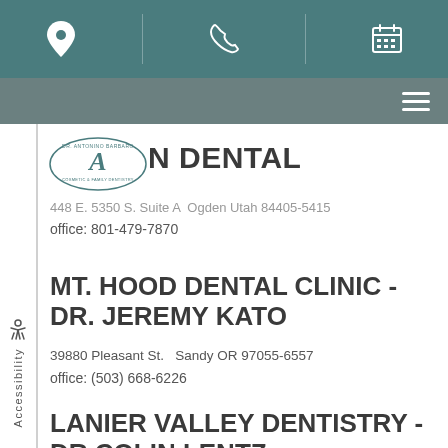Navigation bar with location, phone, and calendar icons
[Figure (logo): Dr. Antonino Barbaro Cosmetic & Family Dentistry logo with cursive A monogram]
N DENTAL
448 E. 5350 S. Suite A  Ogden Utah 84405-5415
office: 801-479-7870
MT. HOOD DENTAL CLINIC - DR. JEREMY KATO
39880 Pleasant St.   Sandy OR 97055-6557
office: (503) 668-6226
LANIER VALLEY DENTISTRY - DR COLIN LENTZ